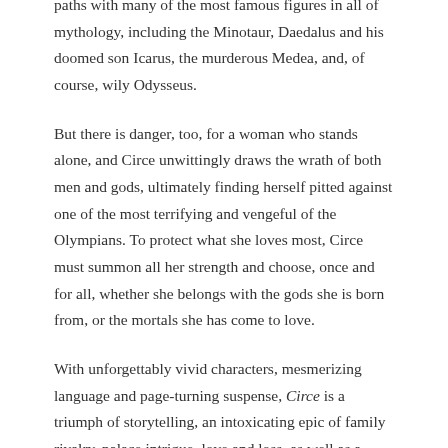paths with many of the most famous figures in all of mythology, including the Minotaur, Daedalus and his doomed son Icarus, the murderous Medea, and, of course, wily Odysseus.
But there is danger, too, for a woman who stands alone, and Circe unwittingly draws the wrath of both men and gods, ultimately finding herself pitted against one of the most terrifying and vengeful of the Olympians. To protect what she loves most, Circe must summon all her strength and choose, once and for all, whether she belongs with the gods she is born from, or the mortals she has come to love.
With unforgettably vivid characters, mesmerizing language and page-turning suspense, Circe is a triumph of storytelling, an intoxicating epic of family rivalry, palace intrigue, love and loss, as well as a celebration of indomitable female strength in a man's world.